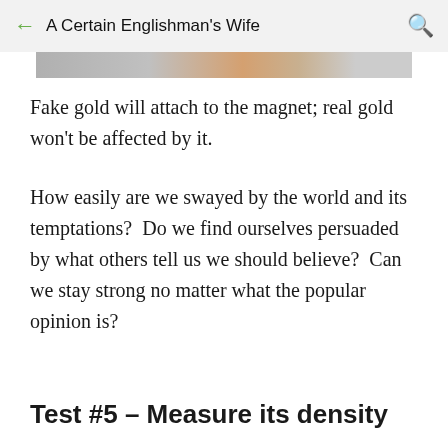A Certain Englishman's Wife
[Figure (photo): Partial image strip visible at the top of the content area, showing a cropped photograph.]
Fake gold will attach to the magnet; real gold won't be affected by it.
How easily are we swayed by the world and its temptations?  Do we find ourselves persuaded by what others tell us we should believe?  Can we stay strong no matter what the popular opinion is?
Test #5 – Measure its density